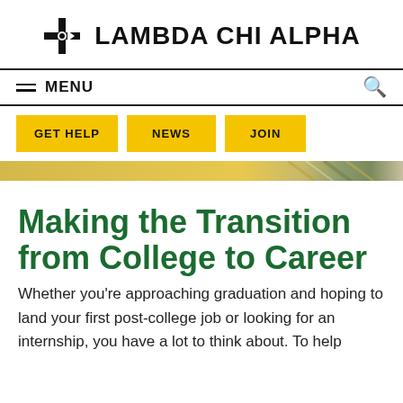[Figure (logo): Lambda Chi Alpha logo: black cross/compass rose symbol and bold text LAMBDA CHI ALPHA]
MENU | GET HELP | NEWS | JOIN
[Figure (illustration): Diagonal banner stripe with gold and muted green/gray diagonal stripes]
Making the Transition from College to Career
Whether you’re approaching graduation and hoping to land your first post-college job or looking for an internship, you have a lot to think about. To help